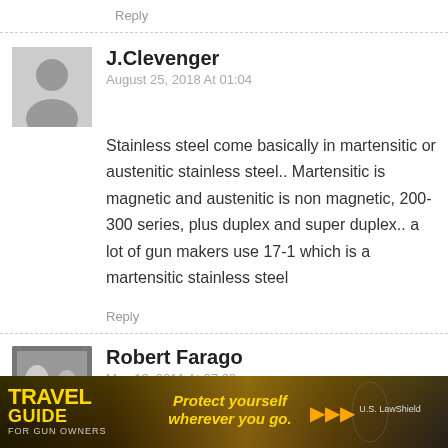Reply
J.Clevenger
August 25, 2018 At 01:04
Stainless steel come basically in martensitic or austenitic stainless steel.. Martensitic is magnetic and austenitic is non magnetic, 200-300 series, plus duplex and super duplex.. a lot of gun makers use 17-1 which is a martensitic stainless steel
Reply
Robert Farago
May 13, 2011 At 07:08
No it doesn't suck.
[Figure (infographic): Advertisement banner: Travel Guide for Gun Owners / Protect yourself wherever you go. / U.S. LawShield]